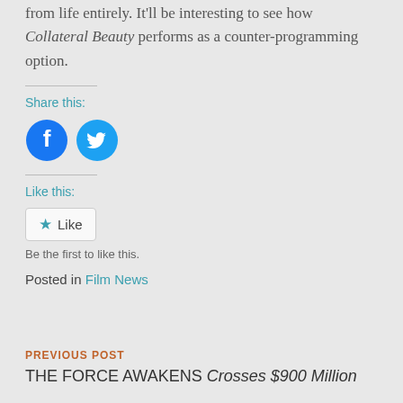from life entirely. It'll be interesting to see how Collateral Beauty performs as a counter-programming option.
Share this:
[Figure (illustration): Facebook and Twitter social share icon buttons (circular, blue)]
Like this:
[Figure (illustration): Like button with star icon]
Be the first to like this.
Posted in Film News
PREVIOUS POST
THE FORCE AWAKENS Crosses $900 Million